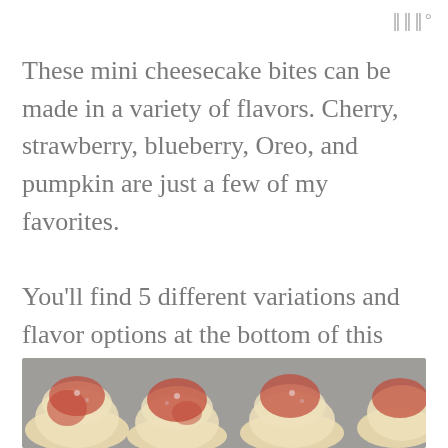|||°
These mini cheesecake bites can be made in a variety of flavors. Cherry, strawberry, blueberry, Oreo, and pumpkin are just a few of my favorites.
You'll find 5 different variations and flavor options at the bottom of this post.
[Figure (photo): Close-up photo of mini cheesecake bites topped with cherry filling and strawberries, on a gray surface]